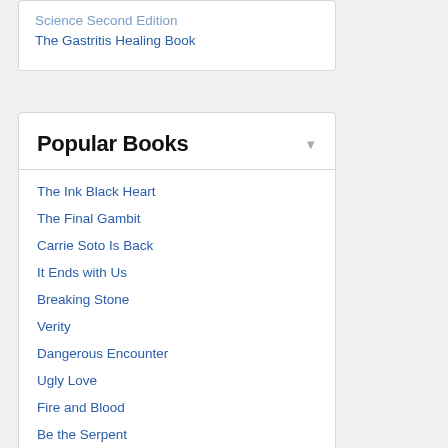Science Second Edition
The Gastritis Healing Book
Popular Books
The Ink Black Heart
The Final Gambit
Carrie Soto Is Back
It Ends with Us
Breaking Stone
Verity
Dangerous Encounter
Ugly Love
Fire and Blood
Be the Serpent
I'm Glad My Mom Died
All Good People Here
Where the Crawdads Sing
The Scarpetta Factor